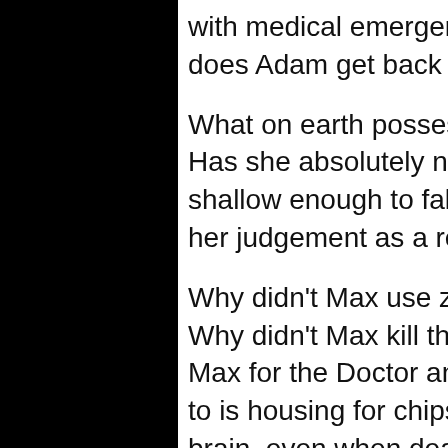with medical emergencies, which are exemptions, but then how does Adam get back to the floor he came from?]
What on earth possesses Rose to give Adam her TARDIS key? Has she absolutely no ability to judge character? [She's just shallow enough to fall for any bloke that looks pretty, and suspends her judgement as a result.]
Why didn't Max use zombies to prevent the Doctor from leaving? Why didn't Max kill the Doctor? Why didn't the TARDIS translate Max for the Doctor and Rose? Why use zombies if all they amount to is housing for chips? Why not just use a computer? [The human brain, even when dead, possesses superior processing powers to the chips]
Rose's phone is rigged up to call back to her mother in 2005. So when Adam uses it, why does he get his family in 2012 (Adam's date established in Dalek)? [Perhaps it's slightly psychic.]
The Nurse says that Adam can buy a very fast "picosurgeon." But a surgeon operating at the